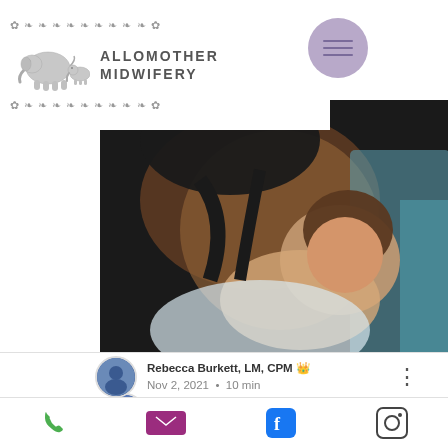[Figure (logo): Allomother Midwifery logo with two elephants and decorative vine borders]
[Figure (photo): Photo of a mother holding a newborn baby, dark and warm tones with teal background]
Rebecca Burkett, LM, CPM 👑
Nov 2, 2021  •  10 min
Felix Wilder | Birth Story
Written and Shared with Permission by Emily Brumwell Originally written and posted at https://www.brumwellphotoblog.com/20...
Phone | Email | Facebook | Instagram